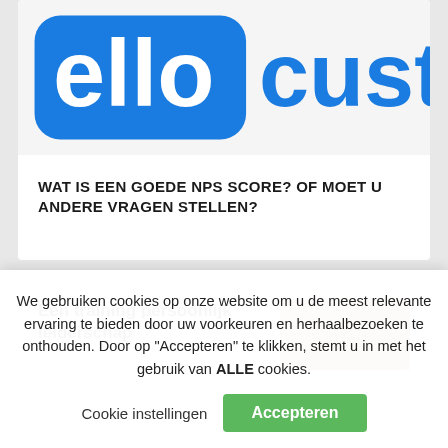[Figure (logo): Partial logo showing 'ello' in white on blue rounded rectangle and 'custom' in blue text, partially cropped on right side]
WAT IS EEN GOEDE NPS SCORE? OF MOET U ANDERE VRAGEN STELLEN?
[Figure (photo): Partial view of a card with text 'Een training persoonlijk leiderschap' and a photo thumbnail showing warm skin-tone colors]
We gebruiken cookies op onze website om u de meest relevante ervaring te bieden door uw voorkeuren en herhaalbezoeken te onthouden. Door op "Accepteren" te klikken, stemt u in met het gebruik van ALLE cookies.
Cookie instellingen   Accepteren